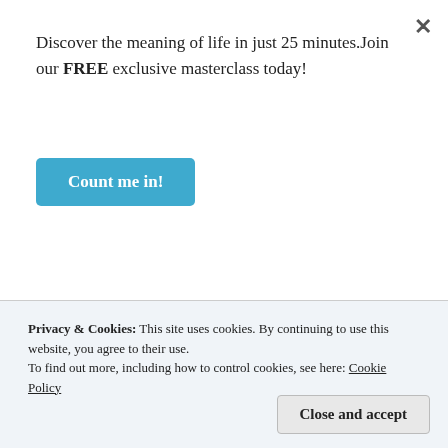[Figure (photo): Partial view of a black and white historical illustration or engraving, partially visible at top of underlying page]
Photo Credit; Wikimedia Commons
You and I are also given by God immense strength. Though we might not be like Samson, we have unique strengths that we can use for the glory of God.
Discover the meaning of life in just 25 minutes.Join our FREE exclusive masterclass today!
Count me in!
Privacy & Cookies: This site uses cookies. By continuing to use this website, you agree to their use.
To find out more, including how to control cookies, see here: Cookie Policy
Close and accept
Satan wants you to believe